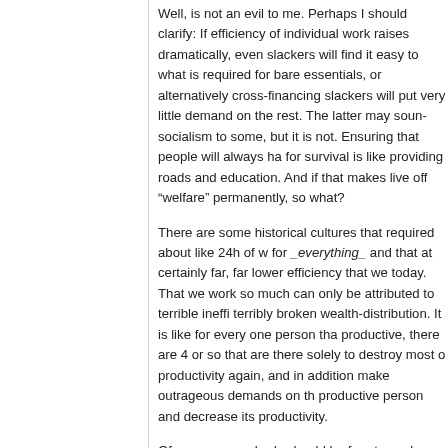Well, is not an evil to me. Perhaps I should clarify: If efficiency of individual work raises dramatically, even slackers will find it easy to what is required for bare essentials, or alternatively cross-financing slackers will put very little demand on the rest. The latter may sound socialism to some, but it is not. Ensuring that people will always ha for survival is like providing roads and education. And if that makes live off “welfare” permanently, so what?
There are some historical cultures that required about like 24h of w for _everything_ and that at certainly far, far lower efficiency that we today. That we work so much can only be attributed to terrible ineffi terribly broken wealth-distribution. It is like for every one person tha productive, there are 4 or so that are there solely to destroy most o productivity again, and in addition make outrageous demands on th productive person and decrease its productivity.
Of course, everybody should be free to work as much as they want things, like learning something or doing an interesting project can r work. But what is required should be very low and reflect the real p can be achieved.
Like